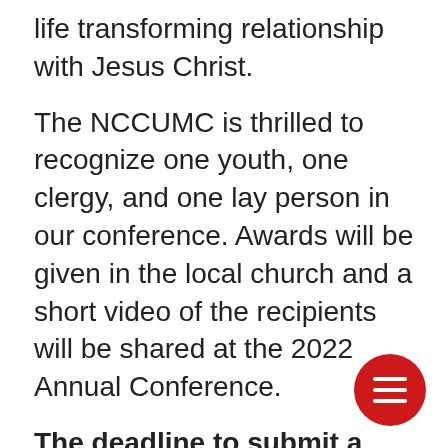life transforming relationship with Jesus Christ.
The NCCUMC is thrilled to recognize one youth, one clergy, and one lay person in our conference. Awards will be given in the local church and a short video of the recipients will be shared at the 2022 Annual Conference.
The deadline to submit a nomination for this year is Ap[ril] 4, 2022. Thank you for taking the